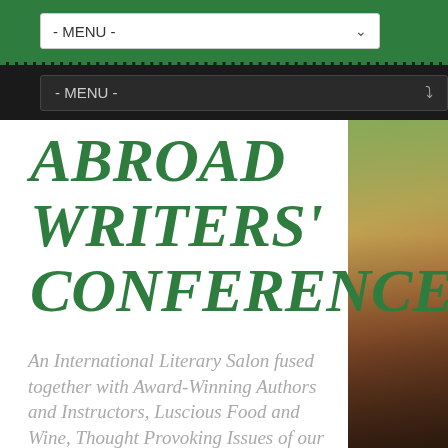- MENU -
- MENU -
ABROAD WRITERS' CONFERENCE
An International Literary Salon fused together with Award-Winning Authors and Instructors, Luscious Food and Wine, Thought Provoking Issues of our Time and
[Figure (photo): Right-side decorative photo strip showing an interior scene with furniture and a painting on the wall, warm tones.]